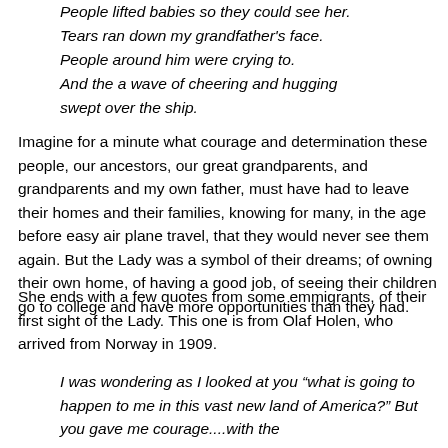People lifted babies so they could see her.
Tears ran down my grandfather's face.
People around him were crying to.
And the a wave of cheering and hugging swept over the ship.
Imagine for a minute what courage and determination these people, our ancestors, our great grandparents, and grandparents and my own father, must have had to leave their homes and their families, knowing for many, in the age before easy air plane travel, that they would never see them again. But the Lady was a symbol of their dreams; of owning their own home, of having a good job, of seeing their children go to college and have more opportunities than they had.
She ends with a few quotes from some emmigrants, of their first sight of the Lady. This one is from Olaf Holen, who arrived from Norway in 1909.
I was wondering as I looked at you “what is going to happen to me in this vast new land of America?” But you gave me courage....with the